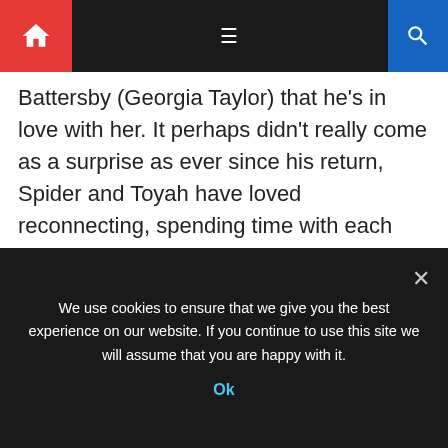Navigation bar with home icon, hamburger menu, and search icon
Battersby (Georgia Taylor) that he's in love with her. It perhaps didn't really come as a surprise as ever since his return, Spider and Toyah have loved reconnecting, spending time with each other just like the good [...]
POLITICS
Biden visits key swing states as midterm crunch time begins
September 5, 2022  •  Uasnewsite  •  Comment(0)
We use cookies to ensure that we give you the best experience on our website. If you continue to use this site we will assume that you are happy with it.
Ok